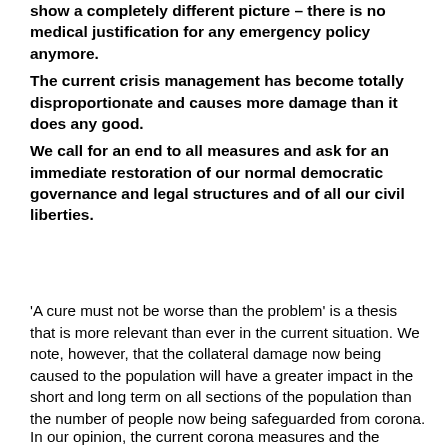show a completely different picture – there is no medical justification for any emergency policy anymore.
The current crisis management has become totally disproportionate and causes more damage than it does any good.
We call for an end to all measures and ask for an immediate restoration of our normal democratic governance and legal structures and of all our civil liberties.
'A cure must not be worse than the problem' is a thesis that is more relevant than ever in the current situation. We note, however, that the collateral damage now being caused to the population will have a greater impact in the short and long term on all sections of the population than the number of people now being safeguarded from corona.
In our opinion, the current corona measures and the